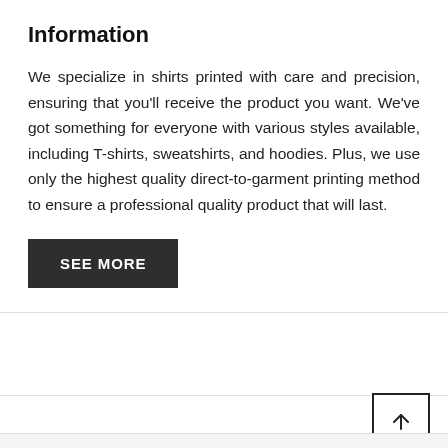Information
We specialize in shirts printed with care and precision, ensuring that you'll receive the product you want. We've got something for everyone with various styles available, including T-shirts, sweatshirts, and hoodies. Plus, we use only the highest quality direct-to-garment printing method to ensure a professional quality product that will last.
SEE MORE